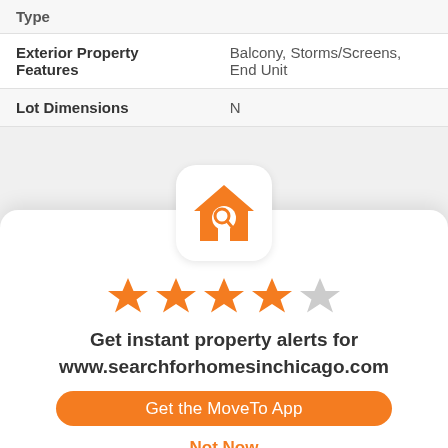| Type |  |
| Exterior Property Features | Balcony, Storms/Screens, End Unit |
| Lot Dimensions | ...N |
[Figure (logo): MoveTo app icon: orange house with magnifying glass]
[Figure (infographic): 4 out of 5 orange stars rating]
Get instant property alerts for www.searchforhomesinchicago.com
Get the MoveTo App
Not Now